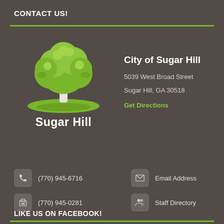CONTACT US!
[Figure (logo): Sugar Hill city logo — tree with green leaves above the text 'Sugar Hill']
City of Sugar Hill
5039 West Broad Street
Sugar Hill, GA 30518
Get Directions
(770) 945-6716
(770) 945-0281
Email Address
Staff Directory
LIKE US ON FACEBOOK!